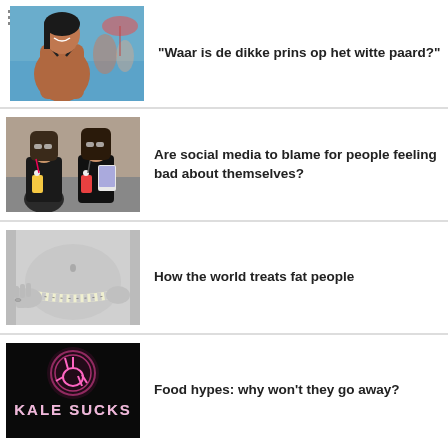[Figure (photo): Smiling plus-size woman in bikini at a pool, with menu/hamburger icon overlay in top-left]
“Waar is de dikke prins op het witte paard?”
[Figure (photo): Two young women wearing sunglasses, holding drinks and taking selfies]
Are social media to blame for people feeling bad about themselves?
[Figure (photo): Black and white close-up of a person's midsection with a measuring tape around it]
How the world treats fat people
[Figure (photo): Dark image with neon sign reading 'KALE SUCKS' with a peace hand sign]
Food hypes: why won’t they go away?